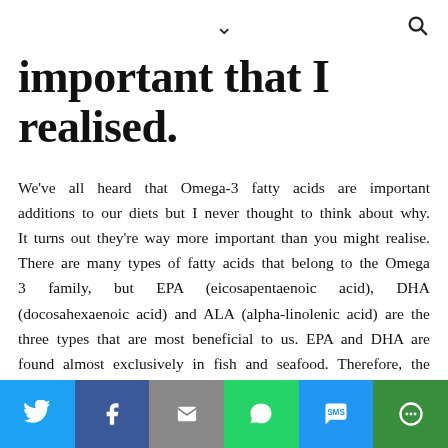∨  🔍
important that I realised.
We've all heard that Omega-3 fatty acids are important additions to our diets but I never thought to think about why. It turns out they're way more important than you might realise. There are many types of fatty acids that belong to the Omega 3 family, but EPA (eicosapentaenoic acid), DHA (docosahexaenoic acid) and ALA (alpha-linolenic acid) are the three types that are most beneficial to us. EPA and DHA are found almost exclusively in fish and seafood. Therefore, the best ways to get these chains of acid are by eating oily fish such as sardines and mackerel, or by taking fish oil supplements. ALA is the other main type of Omega 3, and sources of ALA include vegetable
Twitter | Facebook | Email | WhatsApp | SMS | More